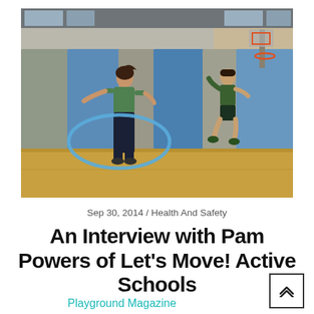[Figure (photo): Children in a school gymnasium — a girl in a green t-shirt spinning a blue hula hoop looks back at the camera, while a boy in a green uniform jumps in the background near blue and gray padded wall mats.]
Sep 30, 2014 / Health And Safety
An Interview with Pam Powers of Let's Move! Active Schools
Playground Magazine